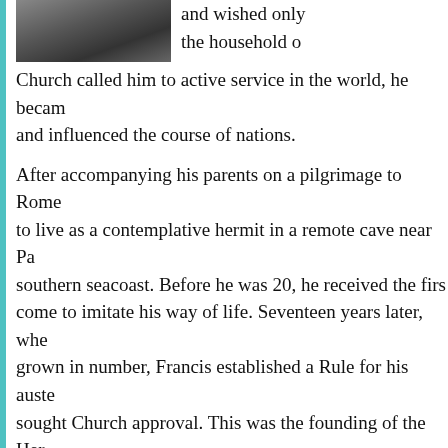[Figure (photo): Historical portrait photo of a religious figure, partially visible at top of page]
and wished only the household o
Church called him to active service in the world, he beca and influenced the course of nations.
After accompanying his parents on a pilgrimage to Rome to live as a contemplative hermit in a remote cave near Pa southern seacoast. Before he was 20, he received the firs come to imitate his way of life. Seventeen years later, whe grown in number, Francis established a Rule for his auste sought Church approval. This was the founding of the Her Assisi, who were approved by the Holy See in 1474.
In 1492, Francis changed the name of his community to "M wanted them to be known as the least (minimi) in the hous Humility was to be the hallmark of the brothers as it had b personal life. Besides the vows of poverty, chastity and ob enjoined upon his followers the fourth obligation of a perp felt that heroic mortification was necessary as a means fo